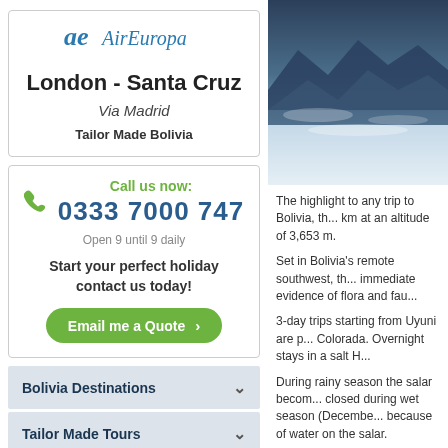[Figure (logo): Air Europa airline logo with stylized 'ae' symbol and blue text]
London - Santa Cruz
Via Madrid
Tailor Made Bolivia
Call us now: 0333 7000 747 Open 9 until 9 daily
Start your perfect holiday contact us today!
Email me a Quote >
Bolivia Destinations
Tailor Made Tours
[Figure (photo): Uyuni Salt Flat landscape photo showing mountains reflected in shallow water under cloudy sky]
The highlight to any trip to Bolivia, th... km at an altitude of 3,653 m.
Set in Bolivia's remote southwest, th... immediate evidence of flora and fau...
3-day trips starting from Uyuni are p... Colorada. Overnight stays in a salt H...
During rainy season the salar becom... closed during wet season (Decembe... because of water on the salar.
Discover Salar de Uyuni